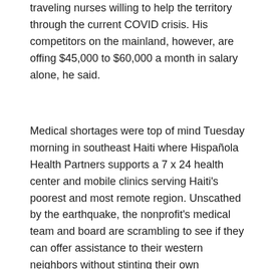traveling nurses willing to help the territory through the current COVID crisis. His competitors on the mainland, however, are offing $45,000 to $60,000 a month in salary alone, he said.
Medical shortages were top of mind Tuesday morning in southeast Haiti where Hispañola Health Partners supports a 7 x 24 health center and mobile clinics serving Haiti's poorest and most remote region. Unscathed by the earthquake, the nonprofit's medical team and board are scrambling to see if they can offer assistance to their western neighbors without stinting their own community.
[Figure (photo): Earthquake-damaged building in Haiti, showing collapsed and damaged concrete structure with exposed rebar and debris, with blue tarps visible on the right side and a clear blue sky in the background.]